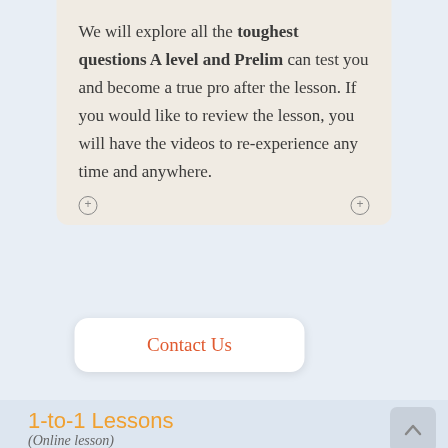We will explore all the toughest questions A level and Prelim can test you and become a true pro after the lesson. If you would like to review the lesson, you will have the videos to re-experience any time and anywhere.
Contact Us
1-to-1 Lessons
(Online lesson)
$120 / hr lesson
$180 / hr lesson